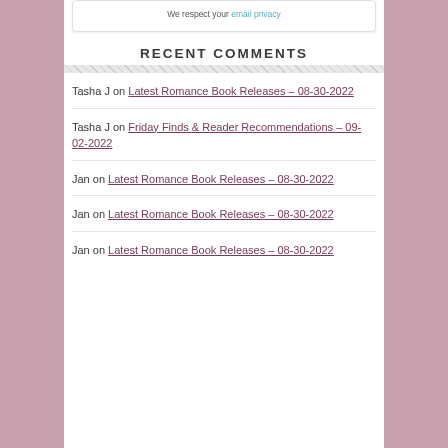We respect your email privacy
RECENT COMMENTS
Tasha J on Latest Romance Book Releases – 08-30-2022
Tasha J on Friday Finds & Reader Recommendations – 09-02-2022
Jan on Latest Romance Book Releases – 08-30-2022
Jan on Latest Romance Book Releases – 08-30-2022
Jan on Latest Romance Book Releases – 08-30-2022